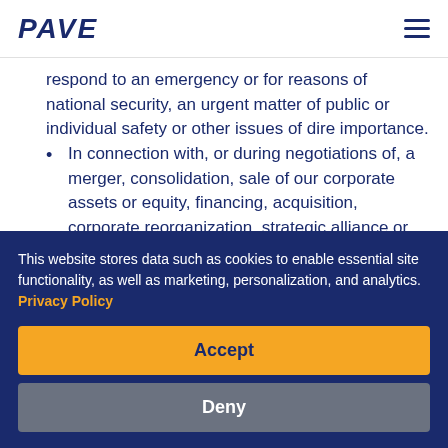PAVE
respond to an emergency or for reasons of national security, an urgent matter of public or individual safety or other issues of dire importance.
In connection with, or during negotiations of, a merger, consolidation, sale of our corporate assets or equity, financing, acquisition, corporate reorganization, strategic alliance or
This website stores data such as cookies to enable essential site functionality, as well as marketing, personalization, and analytics. Privacy Policy
Accept
Deny